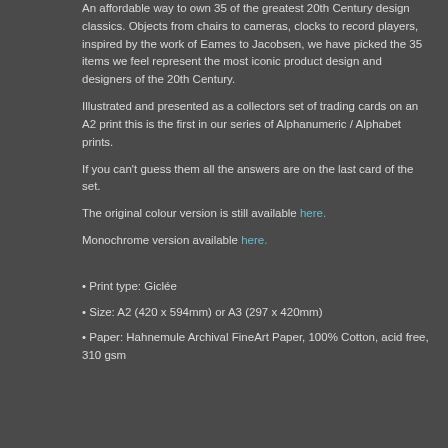An affordable way to own 35 of the greatest 20th Century design classics. Objects from chairs to cameras, clocks to record players, inspired by the work of Eames to Jacobsen, we have picked the 35 items we feel represent the most iconic product design and designers of the 20th Century.
Illustrated and presented as a collectors set of trading cards on an A2 print this is the first in our series of Alphanumeric / Alphabet prints.
If you can't guess them all the answers are on the last card of the set.
The original colour version is still available here.
Monochrome version available here.
• Print type: Giclée
• Size: A2 (420 x 594mm) or A3 (297 x 420mm)
• Paper: Hahnemule Archival FineArt Paper, 100% Cotton, acid free, 310 gsm